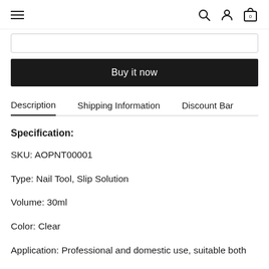Navigation header with hamburger menu and icons for search, account, and cart (0 items)
Buy it now
Description   Shipping Information   Discount Bar
Specification:
SKU: AOPNT00001
Type: Nail Tool, Slip Solution
Volume: 30ml
Color: Clear
Application: Professional and domestic use (cut off)